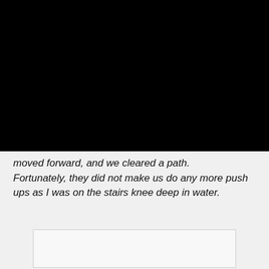Notice
This website or its third-party tools use cookies, which are necessary to its functioning and required to achieve the purposes illustrated in the cookie policy. If you want to know more or withdraw your consent to all or some of the cookies, please refer to the cookie policy.
By closing this banner, scrolling this page, clicking a link or continuing to browse otherwise, you agree to the use of cookies.
moved forward, and we cleared a path. Fortunately, they did not make us do any more push ups as I was on the stairs knee deep in water.
[Figure (other): Empty image placeholder box with light gray fill and border]